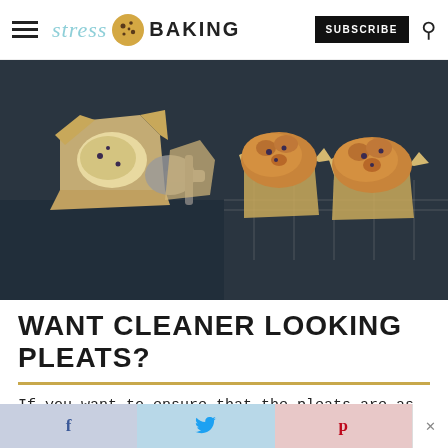stress BAKING — SUBSCRIBE [search icon]
[Figure (photo): Two side-by-side food photos of muffins in parchment paper liners on a dark blue/grey background. Left photo shows unbaked muffin batter being scooped. Right photo shows two baked muffins with golden-brown tops.]
WANT CLEANER LOOKING PLEATS?
If you want to ensure that the pleats are as symmetrical as possible, you can pinch the
f  [twitter bird]  p  ×